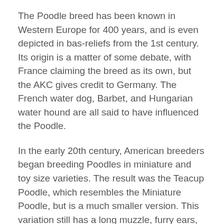The Poodle breed has been known in Western Europe for 400 years, and is even depicted in bas-reliefs from the 1st century. Its origin is a matter of some debate, with France claiming the breed as its own, but the AKC gives credit to Germany. The French water dog, Barbet, and Hungarian water hound are all said to have influenced the Poodle.
In the early 20th century, American breeders began breeding Poodles in miniature and toy size varieties. The result was the Teacup Poodle, which resembles the Miniature Poodle, but is a much smaller version. This variation still has a long muzzle, furry ears, and dark oval eyes. Like the Miniature Poodle, the Teacup Poodle has a square body and perfectly proportioned legs, but is smaller than the Toy Poodle.
The name Poodle probably came from German, where it was used as the lapdog of